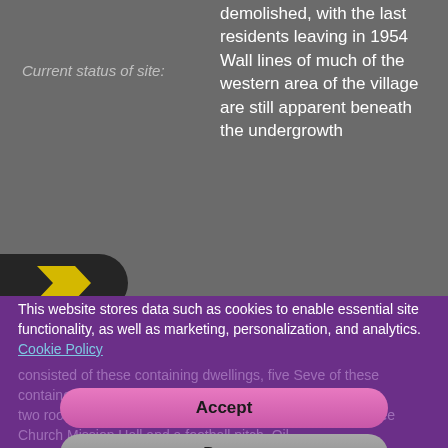Current status of site:
demolished, with the last residents leaving in 1954 Wall lines of much of the western area of the village are still apparent beneath the undergrowth
[Figure (map): Historical Ordnance Survey style map showing Binnend area with numbered plots (338, 339, 340, 346, 348 etc) and building footprints shown as hatched rectangles]
This website stores data such as cookies to enable essential site functionality, as well as marketing, personalization, and analytics. Cookie Policy
Accept
Deny